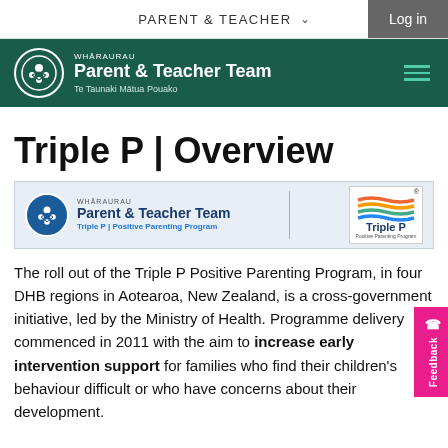PARENT & TEACHER  Log in
[Figure (logo): Whāraurau Parent & Teacher Team logo with green background and white circular icon]
Triple P | Overview
[Figure (logo): Banner showing Whāraurau Parent & Teacher Team – Triple P | Positive Parenting Program logo alongside Triple P logo]
The roll out of the Triple P Positive Parenting Program, in four DHB regions in Aotearoa, New Zealand, is a cross-government initiative, led by the Ministry of Health. Programme delivery commenced in 2011 with the aim to increase early intervention support for families who find their children's behaviour difficult or who have concerns about their development.